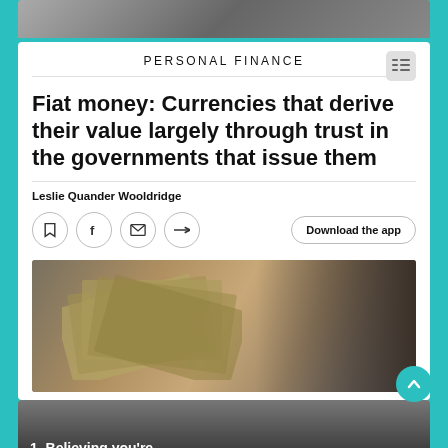[Figure (photo): Partial top photo showing people in business attire, cropped]
PERSONAL FINANCE
Fiat money: Currencies that derive their value largely through trust in the governments that issue them
Leslie Quander Wooldridge
[Figure (photo): Person holding a fan of US dollar bills ($100 notes), with another person visible in background]
[Figure (photo): Bottom partial photo of a woman with dark hair looking down, with text overlay '1. Believing you're']